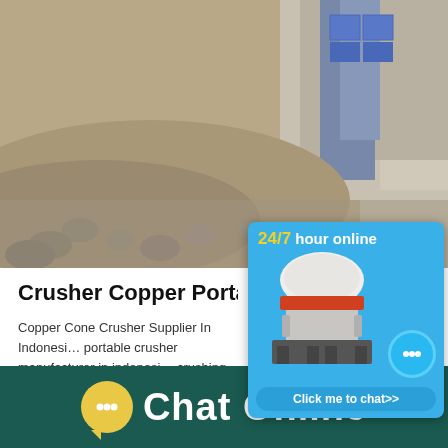[Figure (photo): Aerial/ground view of a quarry or mining site showing rock piles/aggregate material with industrial machinery and silo structures in the background]
Crusher Copper Portable Cr...
Copper Cone Crusher Supplier In Indonesia portable crusher manufacturer in indonesia crushing production line 600tph cler type
[Figure (infographic): Pop-up chat widget with blue background showing '24/7 hour online' text, an image of a cone crusher machine, a chat button reading 'Click me to chat>>']
Chat Online